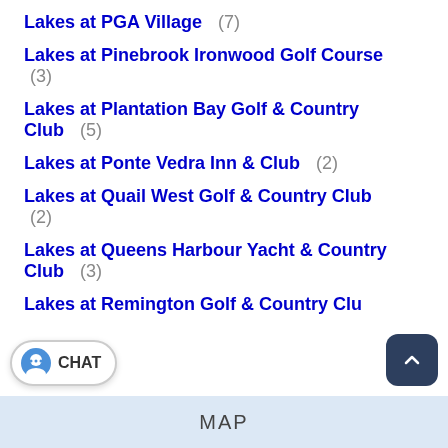Lakes at PGA Village (7)
Lakes at Pinebrook Ironwood Golf Course (3)
Lakes at Plantation Bay Golf & Country Club (5)
Lakes at Ponte Vedra Inn & Club (2)
Lakes at Quail West Golf & Country Club (2)
Lakes at Queens Harbour Yacht & Country Club (3)
Lakes at Remington Golf & Country Club
MAP